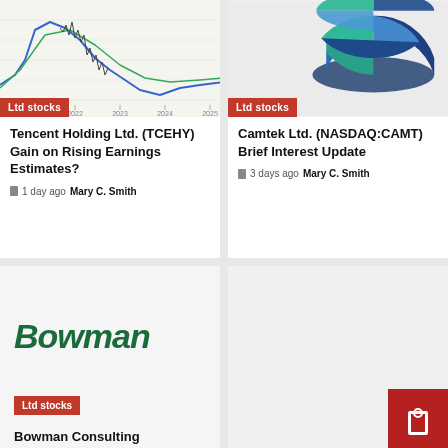[Figure (continuous-plot): Line chart showing stock price trends from approximately 2020 to 2025, with blue and green lines. ZACKS watermark visible. Shows rise and fall pattern.]
Ltd stocks
Tencent Holding Ltd. (TCEHY) Gain on Rising Earnings Estimates?
1 day ago  Mary C. Smith
[Figure (pie-chart): 3D pie chart with three segments: teal/green, medium blue, and dark navy blue colors.]
Ltd stocks
Camtek Ltd. (NASDAQ:CAMT) Brief Interest Update
3 days ago  Mary C. Smith
[Figure (logo): Bowman company logo in dark green italic bold text on light gray background]
Ltd stocks
Bowman Consulting